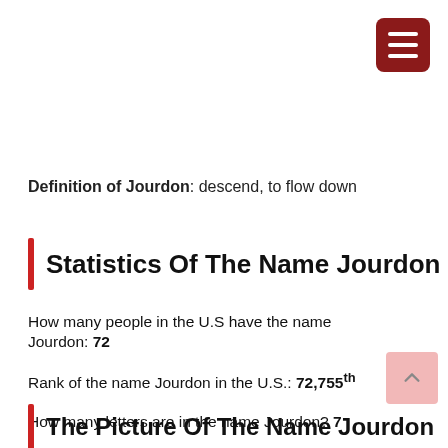[Figure (other): Dark red hamburger menu icon button in top-right corner]
Definition of Jourdon: descend, to flow down
Statistics Of The Name Jourdon
How many people in the U.S have the name Jourdon: 72
Rank of the name Jourdon in the U.S.: 72,755th
How many letters are in the name Jourdon? 7
The Picture Of The Name Jourdon